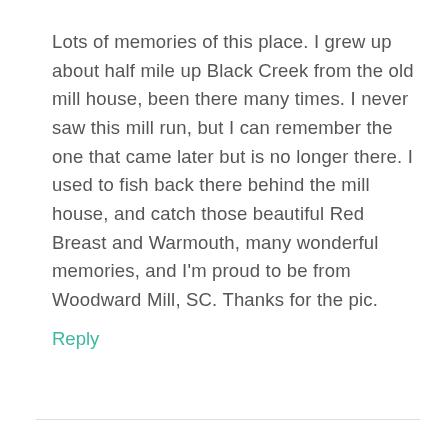Lots of memories of this place. I grew up about half mile up Black Creek from the old mill house, been there many times. I never saw this mill run, but I can remember the one that came later but is no longer there. I used to fish back there behind the mill house, and catch those beautiful Red Breast and Warmouth, many wonderful memories, and I'm proud to be from Woodward Mill, SC. Thanks for the pic.
Reply